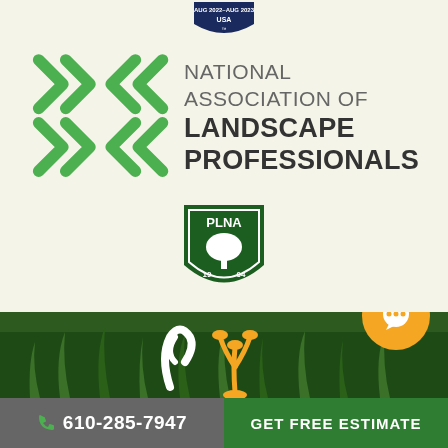[Figure (logo): Small badge/shield at top center reading AUG 2022–AUG 2023 USA]
[Figure (logo): National Association of Landscape Professionals logo with green geometric arrow icon on left and text on right]
[Figure (logo): PLNA (Pennsylvania Landscape & Nursery Association) logo with keystone shape containing tree, dated 1904]
Pennsylvania Landscape & Nursery Association
[Figure (photo): Dark green grass background with decorative lawn icons and an orange chat bubble icon]
610-285-7947
GET FREE ESTIMATE